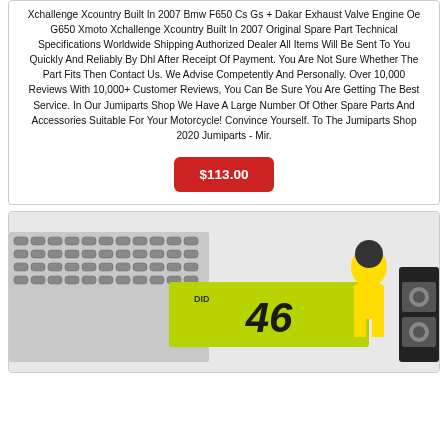Xchallenge Xcountry Built In 2007 Bmw F650 Cs Gs + Dakar Exhaust Valve Engine Oe G650 Xmoto Xchallenge Xcountry Built In 2007 Original Spare Part Technical Specifications Worldwide Shipping Authorized Dealer All Items Will Be Sent To You Quickly And Reliably By Dhl After Receipt Of Payment. You Are Not Sure Whether The Part Fits Then Contact Us. We Advise Competently And Personally. Over 10,000 Reviews With 10,000+ Customer Reviews, You Can Be Sure You Are Getting The Best Service. In Our Jumiparts Shop We Have A Large Number Of Other Spare Parts And Accessories Suitable For Your Motorcycle! Convince Yourself. To The Jumiparts Shop 2020 Jumiparts - Mir.
$113.00
[Figure (photo): Product photo showing motorcycle chain with number 46 branding (Valentino Rossi), a figurine of a motorcycle racer, and what appears to be a parts kit/sticker set in a package.]